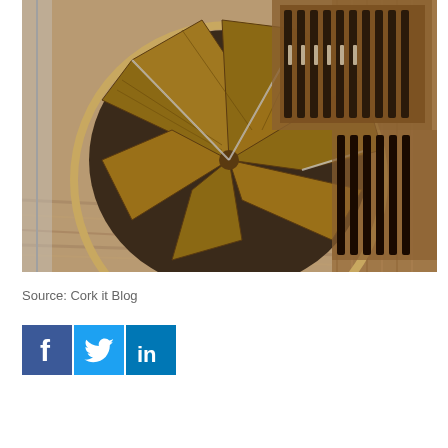[Figure (photo): Aerial view looking down into a circular spiral staircase with wooden steps in a wine cellar or wine shop, surrounded by wine bottle racks on wooden walls. The staircase is enclosed in a large circular frame with glass railings.]
Source: Cork it Blog
[Figure (infographic): Social media share icons: Facebook (dark blue square with white 'f'), Twitter (light blue square with white bird), LinkedIn (medium blue square with white 'in')]